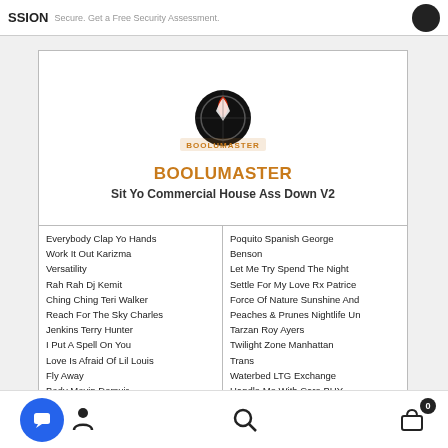SSION  Secure. Get a Free Security Assessment.
[Figure (logo): BOOLUMASTER logo with circular emblem and stylized text]
BOOLUMASTER
Sit Yo Commercial House Ass Down V2
Everybody Clap Yo Hands
Work It Out Karizma Versatility
Rah Rah Dj Kemit
Ching Ching Teri Walker
Reach For The Sky Charles Jenkins Terry Hunter
I Put A Spell On You
Love Is Afraid Of Lil Louis
Fly Away
Body Movin Demuir
Poquito Spanish George Benson
Let Me Try Spend The Night
Settle For My Love Rx Patrice
Force Of Nature Sunshine And Peaches & Prunes Nightlife Un
Tarzan Roy Ayers
Twilight Zone Manhattan Trans
Waterbed LTG Exchange
Handle Me With Care BHY
Navigation bar with chat, search, and cart icons